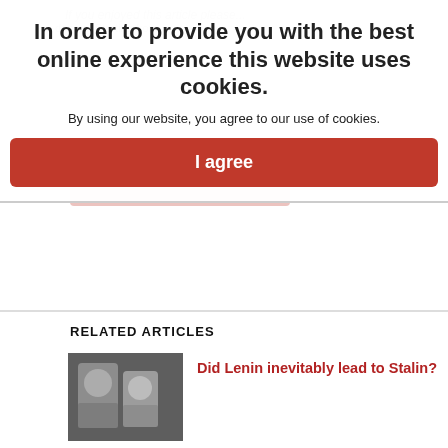If you enjoyed this article please...
donate. Starting from...
In order to provide you with the best online experience this website uses cookies.
By using our website, you agree to our use of cookies.
I agree
RELATED ARTICLES
[Figure (photo): Black and white photograph of Lenin and Stalin sitting together]
Did Lenin inevitably lead to Stalin?
[Figure (photo): Book cover of The Communist Movement at a Crossroads]
The Communist Movement at a Crossroads: Plenums of the Communist International's Executive Committee, 1922-1923 - book review
[Figure (photo): Partial view of Lenin's State book cover with red and orange colors]